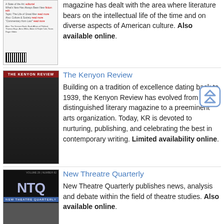magazine has dealt with the area where literature bears on the intellectual life of the time and on diverse aspects of American culture. Also available online.
[Figure (photo): Magazine cover of a literary publication showing text listings]
The Kenyon Review
Building on a tradition of excellence dating back to 1939, the Kenyon Review has evolved from a distinguished literary magazine to a pre-eminent arts organization. Today, KR is devoted to nurturing, publishing, and celebrating the best in contemporary writing. Limited availability online.
[Figure (photo): The Kenyon Review magazine cover showing a black and white photo of a child with a bicycle]
New Threatre Quarterly
New Theatre Quarterly publishes news, analysis and debate within the field of theatre studies. Also available online.
[Figure (photo): New Theatre Quarterly magazine cover with NTQ logo on black background]
[Figure (photo): Partial magazine cover visible at bottom]